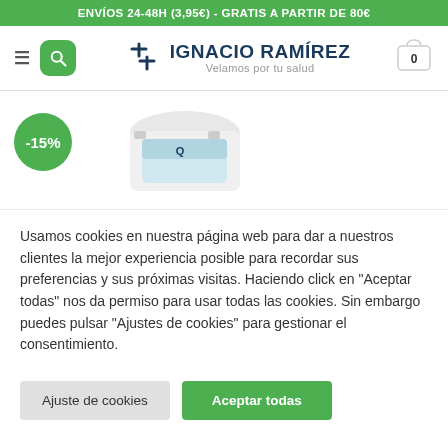ENVÍOS 24-48H (3,95€) - GRATIS A PARTIR DE 80€
[Figure (screenshot): Navigation header with hamburger menu, green search button, Ignacio Ramírez logo (Velamos por tu salud), and shopping cart icon showing 0 items]
[Figure (photo): Product listing showing a product with -15% green discount badge and a partially visible white/teal product container]
Usamos cookies en nuestra página web para dar a nuestros clientes la mejor experiencia posible para recordar sus preferencias y sus próximas visitas. Haciendo click en "Aceptar todas" nos da permiso para usar todas las cookies. Sin embargo puedes pulsar "Ajustes de cookies" para gestionar el consentimiento.
Ajuste de cookies  |  Aceptar todas